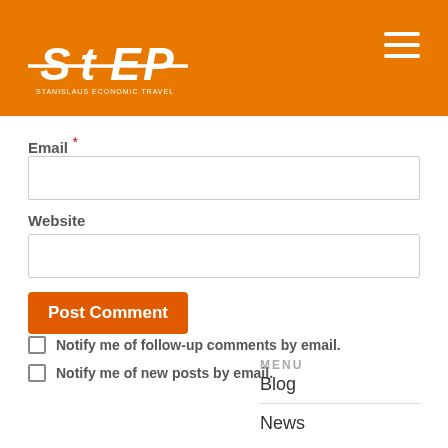[Figure (logo): STEP logo in white on orange background with hamburger menu icon]
Email *
Website
Post Comment
Notify me of follow-up comments by email.
Notify me of new posts by email.
MENU
Blog
News